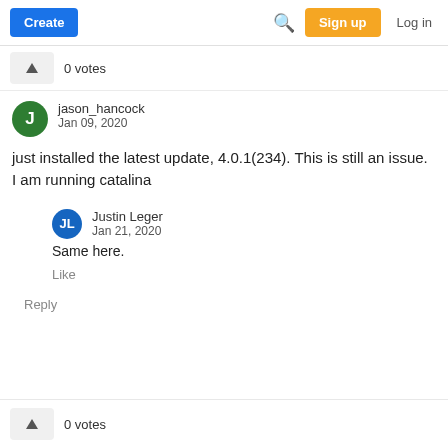Create  Sign up  Log in
0 votes
jason_hancock
Jan 09, 2020
just installed the latest update, 4.0.1(234). This is still an issue. I am running catalina
Justin Leger
Jan 21, 2020
Same here.
Like
Reply
0 votes